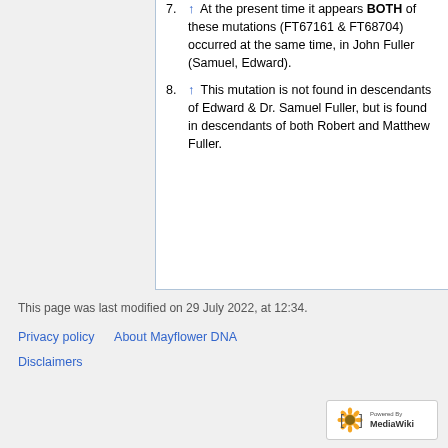7. ↑ At the present time it appears BOTH of these mutations (FT67161 & FT68704) occurred at the same time, in John Fuller (Samuel, Edward).
8. ↑ This mutation is not found in descendants of Edward & Dr. Samuel Fuller, but is found in descendants of both Robert and Matthew Fuller.
This page was last modified on 29 July 2022, at 12:34.
Privacy policy   About Mayflower DNA
Disclaimers